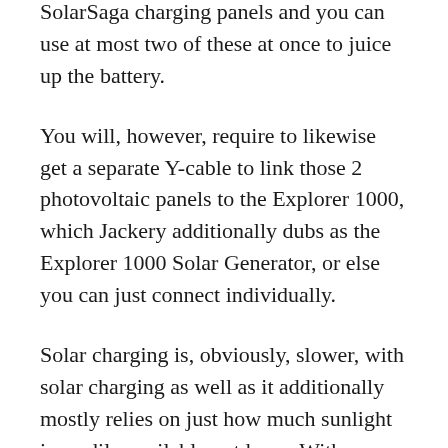SolarSaga charging panels and you can use at most two of these at once to juice up the battery.
You will, however, require to likewise get a separate Y-cable to link those 2 photovoltaic panels to the Explorer 1000, which Jackery additionally dubs as the Explorer 1000 Solar Generator, or else you can just connect individually.
Solar charging is, obviously, slower, with solar charging as well as it additionally mostly relies on just how much sunlight is readily available outdoors. With a single panel, you can just get 85W on a brilliant and also bright day and also 30W max on an overcast one. With two panels together, the output rose to 120W under the full blast of the sunlight...